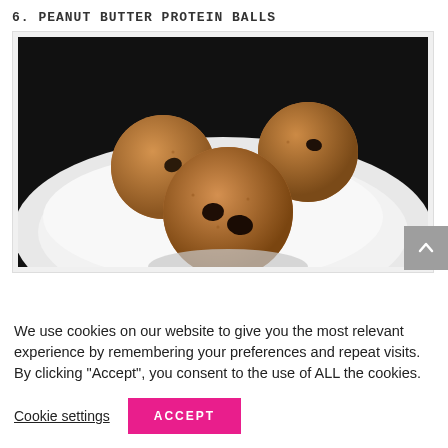6. Peanut Butter Protein Balls
[Figure (photo): Four peanut butter protein balls with chocolate chips on a white plate against a dark background]
We use cookies on our website to give you the most relevant experience by remembering your preferences and repeat visits. By clicking "Accept", you consent to the use of ALL the cookies.
Cookie settings
ACCEPT